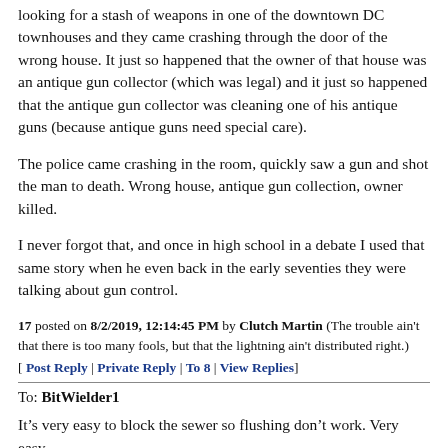looking for a stash of weapons in one of the downtown DC townhouses and they came crashing through the door of the wrong house. It just so happened that the owner of that house was an antique gun collector (which was legal) and it just so happened that the antique gun collector was cleaning one of his antique guns (because antique guns need special care).
The police came crashing in the room, quickly saw a gun and shot the man to death. Wrong house, antique gun collection, owner killed.
I never forgot that, and once in high school in a debate I used that same story when he even back in the early seventies they were talking about gun control.
17 posted on 8/2/2019, 12:14:45 PM by Clutch Martin (The trouble ain't that there is too many fools, but that the lightning ain't distributed right.) [ Post Reply | Private Reply | To 8 | View Replies]
To: BitWielder1
It’s very easy to block the sewer so flushing don’t work. Very easy.